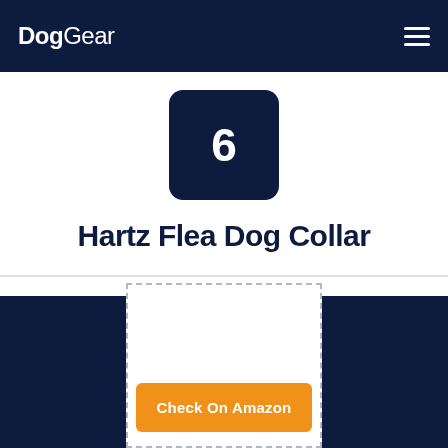DogGear
[Figure (other): Number badge showing '6' in dark navy square with rounded corners]
Hartz Flea Dog Collar
[Figure (other): Product image placeholder in dashed border with 'Check On Amazon' orange button below]